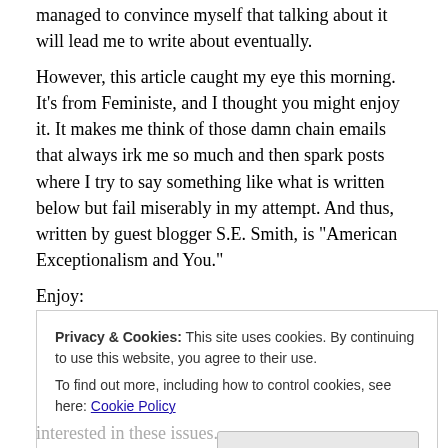managed to convince myself that talking about it will lead me to write about eventually.
However, this article caught my eye this morning. It's from Feministe, and I thought you might enjoy it. It makes me think of those damn chain emails that always irk me so much and then spark posts where I try to say something like what is written below but fail miserably in my attempt. And thus, written by guest blogger S.E. Smith, is "American Exceptionalism and You."
Enjoy:
Talking with a lovely Canadian the other day, we were
Privacy & Cookies: This site uses cookies. By continuing to use this website, you agree to their use.
To find out more, including how to control cookies, see here: Cookie Policy
Close and accept
interested in these issues.